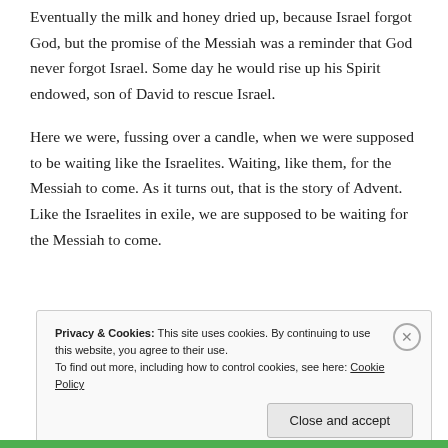Eventually the milk and honey dried up, because Israel forgot God, but the promise of the Messiah was a reminder that God never forgot Israel. Some day he would rise up his Spirit endowed, son of David to rescue Israel.
Here we were, fussing over a candle, when we were supposed to be waiting like the Israelites. Waiting, like them, for the Messiah to come. As it turns out, that is the story of Advent. Like the Israelites in exile, we are supposed to be waiting for the Messiah to come.
Privacy & Cookies: This site uses cookies. By continuing to use this website, you agree to their use.
To find out more, including how to control cookies, see here: Cookie Policy
Close and accept